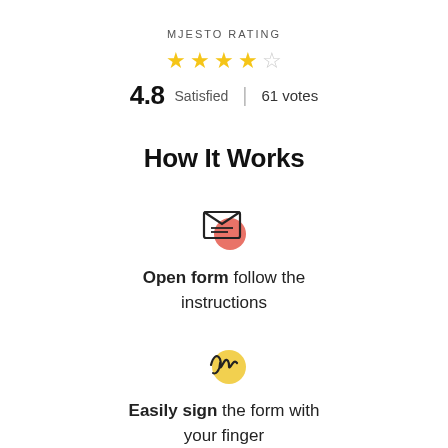MJESTO RATING
[Figure (infographic): 4 filled gold stars and 1 empty star rating display]
4.8 Satisfied | 61 votes
How It Works
[Figure (illustration): Icon of an open envelope/form with red circle accent]
Open form follow the instructions
[Figure (illustration): Icon of a signature with yellow circle accent]
Easily sign the form with your finger